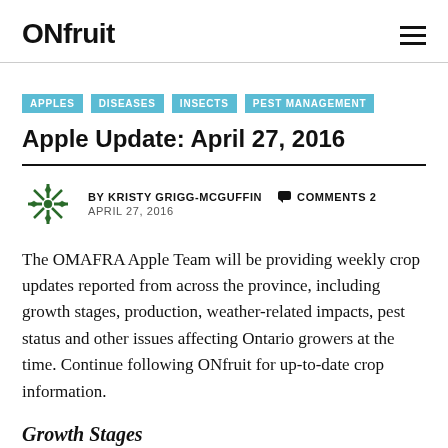ONfruit
APPLES
DISEASES
INSECTS
PEST MANAGEMENT
Apple Update: April 27, 2016
BY KRISTY GRIGG-MCGUFFIN   COMMENTS 2   APRIL 27, 2016
The OMAFRA Apple Team will be providing weekly crop updates reported from across the province, including growth stages, production, weather-related impacts, pest status and other issues affecting Ontario growers at the time. Continue following ONfruit for up-to-date crop information.
Growth Stages